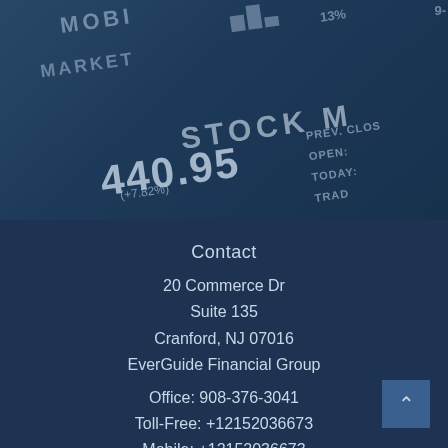[Figure (photo): A dark blue-tinted screenshot of a stock market mobile application showing stock price 440.95 with market data labels including PREV. CLOSE, OPEN, TODAY, and other trading information. The image is rotated and overlaid on a dark navy background.]
Contact
20 Commerce Dr
Suite 135
Cranford, NJ 07016
EverGuide Financial Group
Office: 908-376-3041
Toll-Free: +12152036673
Mobile: +12152036673